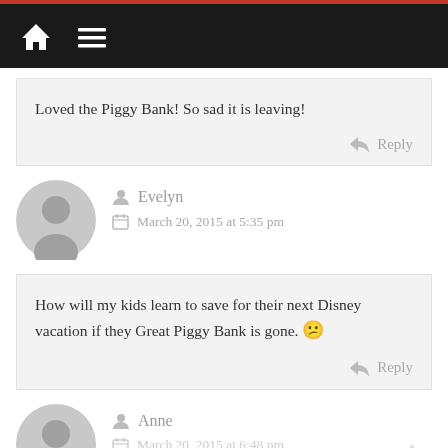Navigation bar with home and menu icons
Loved the Piggy Bank! So sad it is leaving!
Reply
Evelyn
March 20, 2015 at 5:35 pm
How will my kids learn to save for their next Disney vacation if they Great Piggy Bank is gone. 😕
Reply
Anne
March 20, 2015 at 6:48 pm